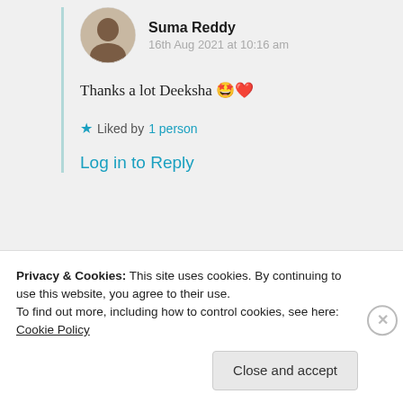Suma Reddy
16th Aug 2021 at 10:16 am
Thanks a lot Deeksha 🤩❤️
★ Liked by 1 person
Log in to Reply
Michele Lee
16th Aug 2021 at 9:31 am
Privacy & Cookies: This site uses cookies. By continuing to use this website, you agree to their use. To find out more, including how to control cookies, see here: Cookie Policy
Close and accept